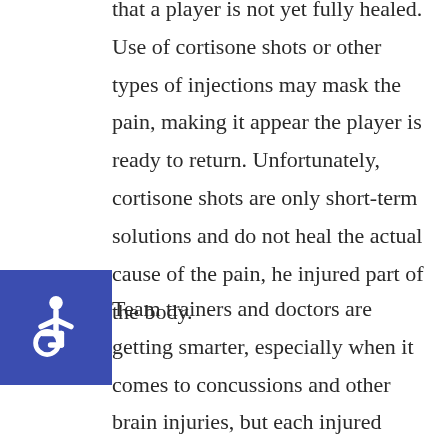that a player is not yet fully healed. Use of cortisone shots or other types of injections may mask the pain, making it appear the player is ready to return. Unfortunately, cortisone shots are only short-term solutions and do not heal the actual cause of the pain, he injured part of the body.
[Figure (illustration): Accessibility icon: white wheelchair symbol on blue square background]
Team trainers and doctors are getting smarter, especially when it comes to concussions and other brain injuries, but each injured player is urged to be smart about his or her return to the game; the player is the one who suffers most by